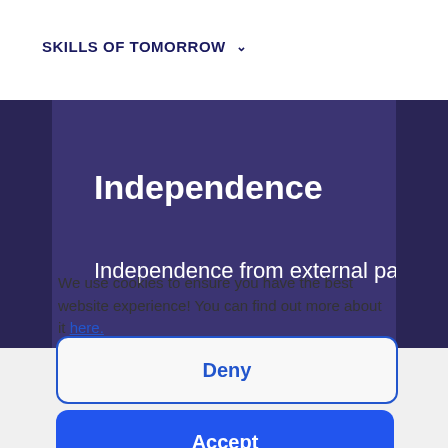SKILLS OF TOMORROW ∨
Independence
Independence from external parties
We use cookies to ensure you have the best website experience! You can find out more about it here.
Deny
Accept
Preferences